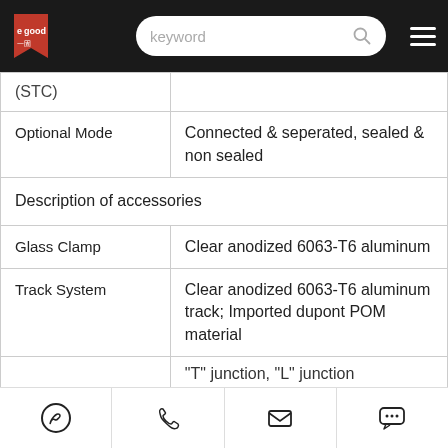egood — keyword [search bar] [menu]
| (STC) |  |
| Optional Mode | Connected & seperated, sealed & non sealed |
| Description of accessories |  |
| Glass Clamp | Clear anodized 6063-T6 aluminum |
| Track System | Clear anodized 6063-T6 aluminum track; Imported dupont POM material |
|  | "T" junction, "L" junction |
WhatsApp | Phone | Email | Chat icons